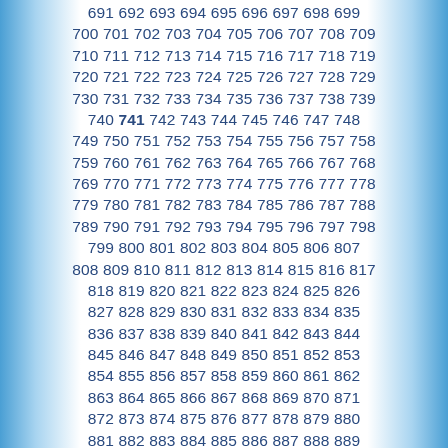691 692 693 694 695 696 697 698 699 700 701 702 703 704 705 706 707 708 709 710 711 712 713 714 715 716 717 718 719 720 721 722 723 724 725 726 727 728 729 730 731 732 733 734 735 736 737 738 739 740 741 742 743 744 745 746 747 748 749 750 751 752 753 754 755 756 757 758 759 760 761 762 763 764 765 766 767 768 769 770 771 772 773 774 775 776 777 778 779 780 781 782 783 784 785 786 787 788 789 790 791 792 793 794 795 796 797 798 799 800 801 802 803 804 805 806 807 808 809 810 811 812 813 814 815 816 817 818 819 820 821 822 823 824 825 826 827 828 829 830 831 832 833 834 835 836 837 838 839 840 841 842 843 844 845 846 847 848 849 850 851 852 853 854 855 856 857 858 859 860 861 862 863 864 865 866 867 868 869 870 871 872 873 874 875 876 877 878 879 880 881 882 883 884 885 886 887 888 889 890